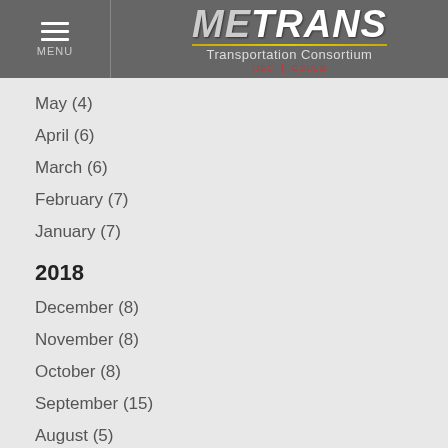[Figure (logo): METRANS Transportation Consortium logo with hamburger menu icon on left side in gray header bar]
May (4)
April (6)
March (6)
February (7)
January (7)
2018
December (8)
November (8)
October (8)
September (15)
August (5)
July (6)
June (7)
May (5)